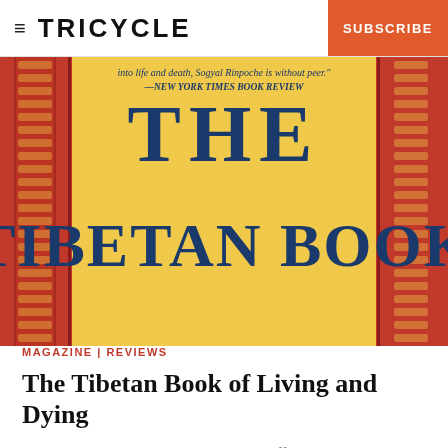TRICYCLE   SUBSCRIBE
[Figure (photo): Book cover of 'The Tibetan Book of Living and Dying' showing large blue serif text on a yellow background with red ornamental border panels. Text visible includes a quote 'into life and death, Sogyal Rinpoche is without peer.' —NEW YORK TIMES BOOK REVIEW, and the partial title THE TIBETAN BOOK]
MAGAZINE | REVIEWS
The Tibetan Book of Living and Dying
By Sogyal Rinpohce, edited by Patrick Gaffney and Andrew Harvey